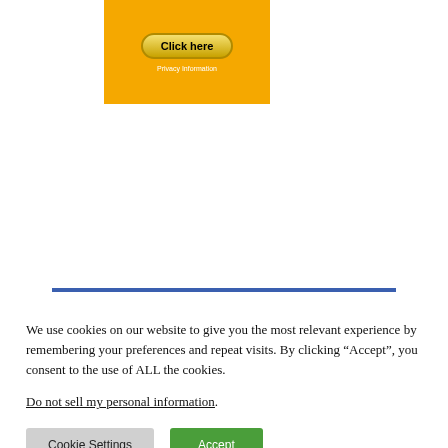[Figure (screenshot): Orange advertisement banner with a 'Click here' button and 'Privacy Information' text below it]
[Figure (screenshot): Dark navy blue banner reading 'FULLY MANAGED HOSTING' in bold yellow text with subtitle 'Completely managed web hosting that works for you, because experts built it just for you.']
We use cookies on our website to give you the most relevant experience by remembering your preferences and repeat visits. By clicking “Accept”, you consent to the use of ALL the cookies.
Do not sell my personal information.
Cookie Settings   Accept